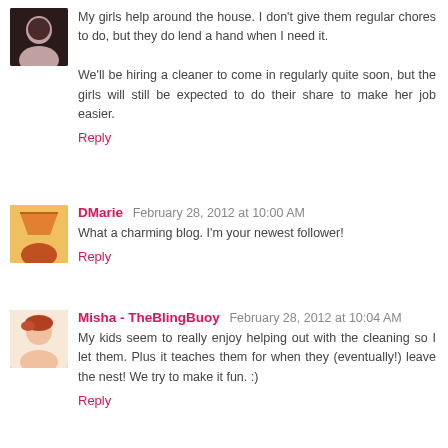My girls help around the house. I don't give them regular chores to do, but they do lend a hand when I need it.

We'll be hiring a cleaner to come in regularly quite soon, but the girls will still be expected to do their share to make her job easier.
Reply
DMarie  February 28, 2012 at 10:00 AM
What a charming blog. I'm your newest follower!
Reply
Misha - TheBlingBuoy  February 28, 2012 at 10:04 AM
My kids seem to really enjoy helping out with the cleaning so I let them. Plus it teaches them for when they (eventually!) leave the nest! We try to make it fun. :)
Reply